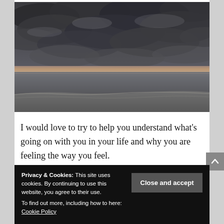[Figure (photo): Dramatic seascape photograph showing a stormy dark cloudy sky over a calm ocean, with a sandy beach in the foreground and a faint orange-pink glow at the horizon.]
I would love to try to help you understand what’s going on with you in your life and why you are feeling the way you feel.
It is po... Univers...
Privacy & Cookies: This site uses cookies. By continuing to use this website, you agree to their use. To find out more, including how to here: Cookie Policy